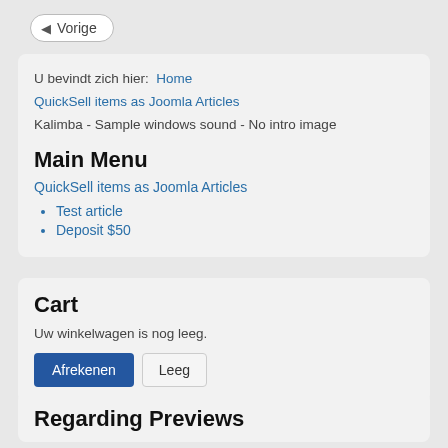◁ Vorige
U bevindt zich hier: Home QuickSell items as Joomla Articles Kalimba - Sample windows sound - No intro image
Main Menu
QuickSell items as Joomla Articles
Test article
Deposit $50
Cart
Uw winkelwagen is nog leeg.
Afrekenen  Leeg
Regarding Previews